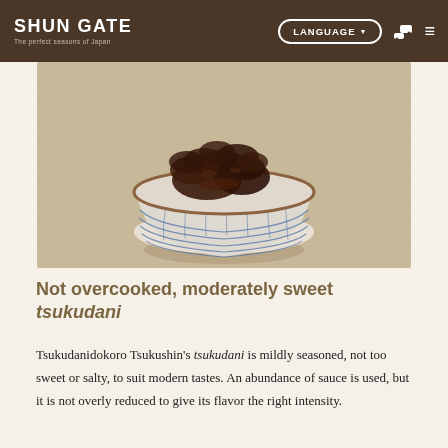SHUN GATE — The perfect seasons of Japan | LANGUAGE | [seat icon] | [menu icon]
[Figure (photo): A small blue-and-white striped ceramic bowl filled with dark brown tsukudani (simmered food), placed on a beige linen cloth background.]
Not overcooked, moderately sweet tsukudani
Tsukudanidokoro Tsukushin's tsukudani is mildly seasoned, not too sweet or salty, to suit modern tastes. An abundance of sauce is used, but it is not overly reduced to give its flavor the right intensity.